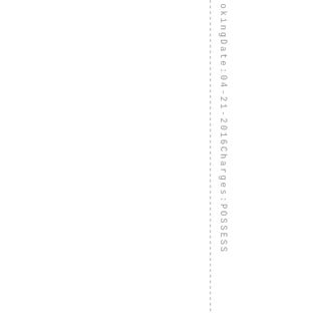okingDate:04-21-2016Charges:POSSESS